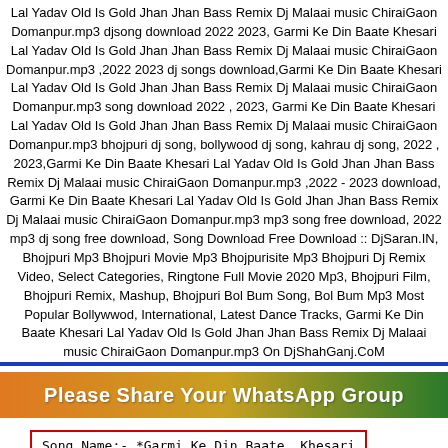Lal Yadav Old Is Gold Jhan Jhan Bass Remix Dj Malaai music ChiraiGaon Domanpur.mp3 djsong download 2022 2023, Garmi Ke Din Baate Khesari Lal Yadav Old Is Gold Jhan Jhan Bass Remix Dj Malaai music ChiraiGaon Domanpur.mp3 ,2022 2023 dj songs download,Garmi Ke Din Baate Khesari Lal Yadav Old Is Gold Jhan Jhan Bass Remix Dj Malaai music ChiraiGaon Domanpur.mp3 song download 2022 , 2023, Garmi Ke Din Baate Khesari Lal Yadav Old Is Gold Jhan Jhan Bass Remix Dj Malaai music ChiraiGaon Domanpur.mp3 bhojpuri dj song, bollywood dj song, kahrau dj song, 2022 , 2023,Garmi Ke Din Baate Khesari Lal Yadav Old Is Gold Jhan Jhan Bass Remix Dj Malaai music ChiraiGaon Domanpur.mp3 ,2022 - 2023 download, Garmi Ke Din Baate Khesari Lal Yadav Old Is Gold Jhan Jhan Bass Remix Dj Malaai music ChiraiGaon Domanpur.mp3 mp3 song free download, 2022 mp3 dj song free download, Song Download Free Download :: DjSaran.IN, Bhojpuri Mp3 Bhojpuri Movie Mp3 Bhojpurisite Mp3 Bhojpuri Dj Remix Video, Select Categories, Ringtone Full Movie 2020 Mp3, Bhojpuri Film, Bhojpuri Remix, Mashup, Bhojpuri Bol Bum Song, Bol Bum Mp3 Most Popular Bollywwod, International, Latest Dance Tracks, Garmi Ke Din Baate Khesari Lal Yadav Old Is Gold Jhan Jhan Bass Remix Dj Malaai music ChiraiGaon Domanpur.mp3 On DjShahGanj.CoM
[Figure (infographic): Banner with orange-green gradient background and white bold text: Please Share Your WhatsApp Group]
Song Name:- *Garmi Ke Din Baate  Khesari